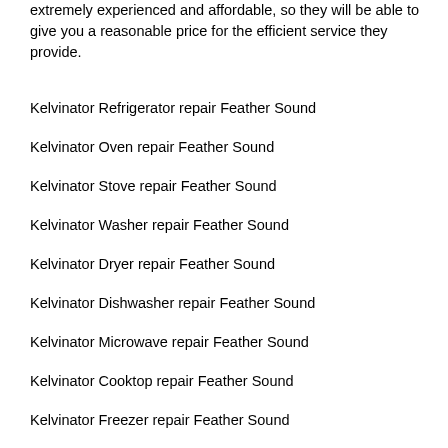extremely experienced and affordable, so they will be able to give you a reasonable price for the efficient service they provide.
Kelvinator Refrigerator repair Feather Sound
Kelvinator Oven repair Feather Sound
Kelvinator Stove repair Feather Sound
Kelvinator Washer repair Feather Sound
Kelvinator Dryer repair Feather Sound
Kelvinator Dishwasher repair Feather Sound
Kelvinator Microwave repair Feather Sound
Kelvinator Cooktop repair Feather Sound
Kelvinator Freezer repair Feather Sound